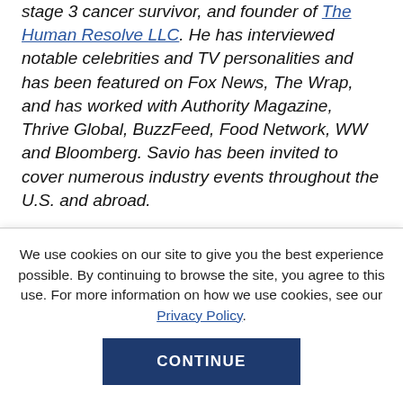stage 3 cancer survivor, and founder of The Human Resolve LLC. He has interviewed notable celebrities and TV personalities and has been featured on Fox News, The Wrap, and has worked with Authority Magazine, Thrive Global, BuzzFeed, Food Network, WW and Bloomberg. Savio has been invited to cover numerous industry events throughout the U.S. and abroad.

His mission is to provide clients, listeners, and viewers alike with tangible
We use cookies on our site to give you the best experience possible. By continuing to browse the site, you agree to this use. For more information on how we use cookies, see our Privacy Policy.
CONTINUE